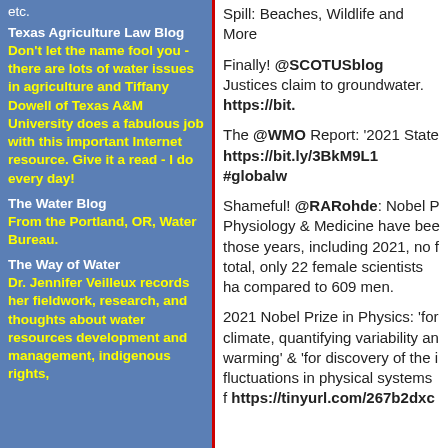etc.
Texas Agriculture Law Blog
Don't let the name fool you - there are lots of water issues in agriculture and Tiffany Dowell of Texas A&M University does a fabulous job with this important Internet resource. Give it a read - I do every day!
The Water Blog
From the Portland, OR, Water Bureau.
The Way of Water
Dr. Jennifer Veilleux records her fieldwork, research, and thoughts about water resources development and management, indigenous rights, this is cut off [
Spill: Beaches, Wildlife and More
Finally! @SCOTUSblog Justices claim to groundwater. https://bit.
The @WMO Report: '2021 State https://bit.ly/3BkM9L1 #globalw
Shameful! @RARohde: Nobel Physiology & Medicine have been those years, including 2021, no f total, only 22 female scientists ha compared to 609 men.
2021 Nobel Prize in Physics: 'for climate, quantifying variability and warming' & 'for discovery of the i fluctuations in physical systems f https://tinyurl.com/267b2dxc